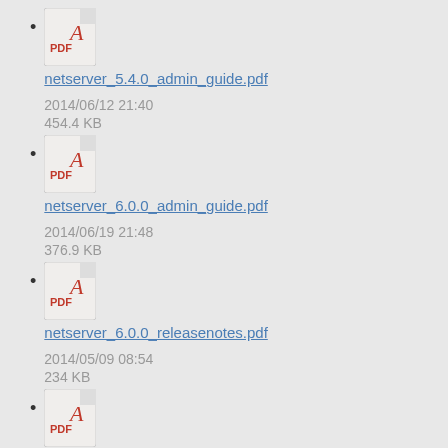netserver_5.4.0_admin_guide.pdf
2014/06/12 21:40
454.4 KB
netserver_6.0.0_admin_guide.pdf
2014/06/19 21:48
376.9 KB
netserver_6.0.0_releasenotes.pdf
2014/05/09 08:54
234 KB
netserver_admin_guide.pdf